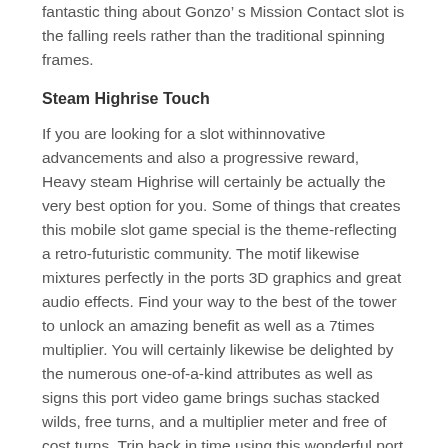fantastic thing about Gonzo’ s Mission Contact slot is the falling reels rather than the traditional spinning frames.
Steam Highrise Touch
If you are looking for a slot withinnovative advancements and also a progressive reward, Heavy steam Highrise will certainly be actually the very best option for you. Some of things that creates this mobile slot game special is the theme-reflecting a retro-futuristic community. The motif likewise mixtures perfectly in the ports 3D graphics and great audio effects. Find your way to the best of the tower to unlock an amazing benefit as well as a 7times multiplier. You will certainly likewise be delighted by the numerous one-of-a-kind attributes as well as signs this port video game brings suchas stacked wilds, free turns, and a multiplier meter and free of cost turns. Trip back in time using this wonderful port for an odds to win significant prizes.
Trip Back in time...